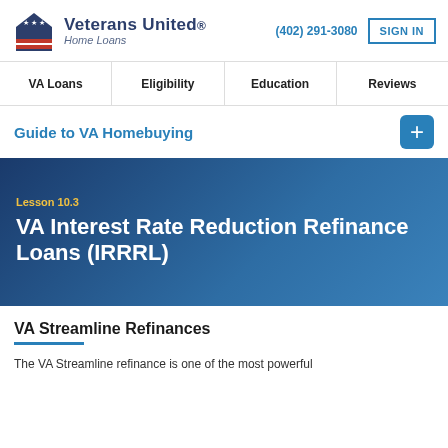Veterans United Home Loans | (402) 291-3080 | SIGN IN
VA Loans | Eligibility | Education | Reviews
Guide to VA Homebuying
Lesson 10.3
VA Interest Rate Reduction Refinance Loans (IRRRL)
VA Streamline Refinances
The VA Streamline refinance is one of the most powerful